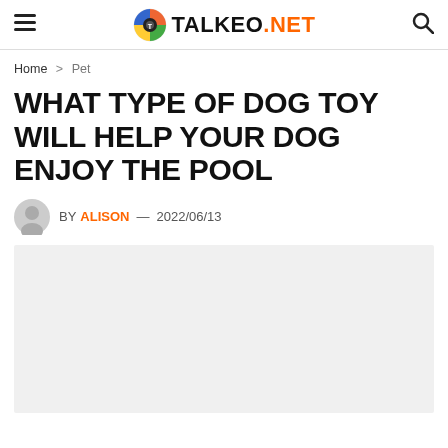TALKEO.NET
Home > Pet
WHAT TYPE OF DOG TOY WILL HELP YOUR DOG ENJOY THE POOL
BY ALISON — 2022/06/13
[Figure (photo): Hero image placeholder (light gray background)]